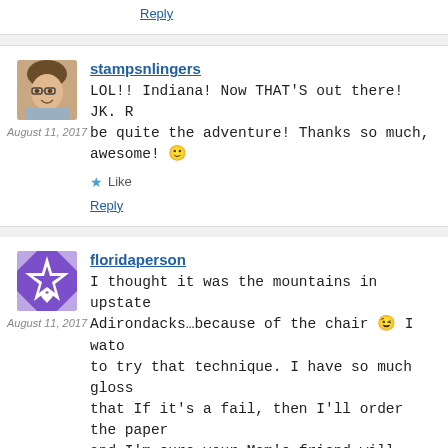Reply
stampsnlingers
August 11, 2017
LOL!! Indiana! Now THAT'S out there! JK. R be quite the adventure! Thanks so much, awesome! 🙂
Like
Reply
floridaperson
August 11, 2017
I thought it was the mountains in upstate Adirondacks…because of the chair 😉 I wato to try that technique. I have so much gloss that If it's a fail, then I'll order the paper and I'm sure your Mom's friend will love it. our kittah and she was totally bored…but t